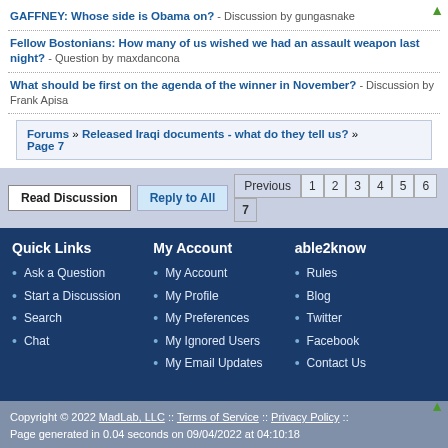GAFFNEY: Whose side is Obama on? - Discussion by gungasnake
Fellow Bostonians: How many of us wished we had an assault weapon last night? - Question by maxdancona
What should be first on the agenda of the winner in November? - Discussion by Frank Apisa
Forums » Released Iraqi documents - what do they tell us? » Page 7
Read Discussion | Reply to All | Previous 1 2 3 4 5 6 7
Quick Links
Ask a Question
Start a Discussion
Search
Chat
My Account
My Account
My Profile
My Preferences
My Ignored Users
My Email Updates
able2know
Rules
Blog
Twitter
Facebook
Contact Us
Copyright © 2022 MadLab, LLC :: Terms of Service :: Privacy Policy :: Page generated in 0.04 seconds on 09/04/2022 at 04:10:18